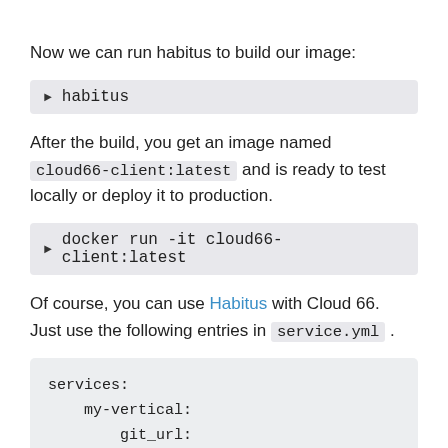Now we can run habitus to build our image:
▶ habitus
After the build, you get an image named cloud66-client:latest and is ready to test locally or deploy it to production.
▶ docker run -it cloud66-client:latest
Of course, you can use Habitus with Cloud 66. Just use the following entries in service.yml .
services:
    my-vertical:
        git_url: http://github.com/your-nic
        git_branch: master
        use_habitus: true